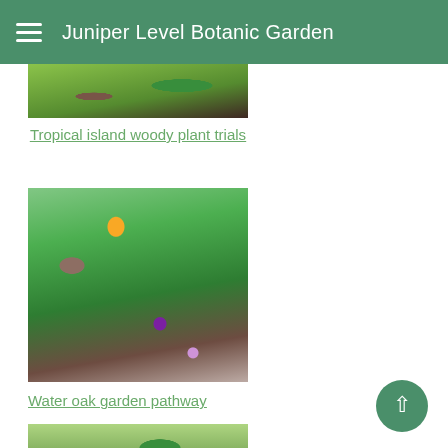Juniper Level Botanic Garden
[Figure (photo): Partial view of tropical garden plants, cropped at top]
Tropical island woody plant trials
[Figure (photo): Water oak garden pathway with trees, foliage, and purple wildflowers]
Water oak garden pathway
[Figure (photo): Bottom garden scene with trees and shrubs, partially cropped]